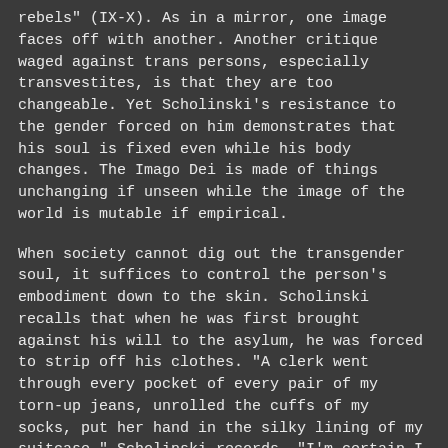rebels" (IX-X). As in a mirror, one image faces off with another. Another critique waged against trans persons, especially transvestites, is that they are too changeable. Yet Scholinski's resistance to the gender forced on him demonstrates that his soul is fixed even while his body changes. The Imago Dei is made of things unchanging if unseen while the image of the world is mutable if empirical.
When society cannot dig out the transgender soul, it suffices to control the person's embodiment down to the skin. Scholinski recalls that when he was first brought against his will to the asylum, he was forced to strip off his clothes. "A clerk went through every pocket of every pair of my torn-up jeans, unrolled the cuffs of my socks, put her hand in the silky lining of my suitcase," Scholinski records. "I'm certain I